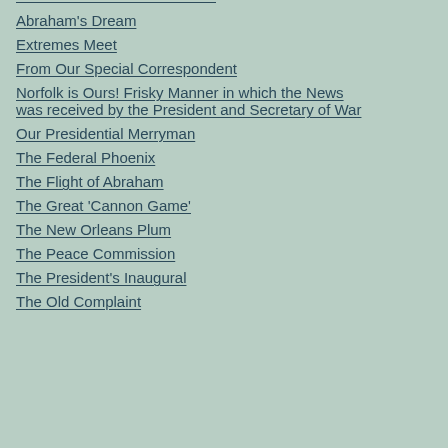Abraham's Dream
Extremes Meet
From Our Special Correspondent
Norfolk is Ours! Frisky Manner in which the News was received by the President and Secretary of War
Our Presidential Merryman
The Federal Phoenix
The Flight of Abraham
The Great 'Cannon Game'
The New Orleans Plum
The Peace Commission
The President's Inaugural
The Old Complaint